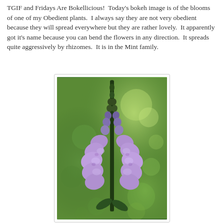TGIF and Fridays Are Bokellicious!  Today's bokeh image is of the blooms of one of my Obedient plants.  I always say they are not very obedient because they will spread everywhere but they are rather lovely.  It apparently got it's name because you can bend the flowers in any direction.  It spreads quite aggressively by rhizomes.  It is in the Mint family.
[Figure (photo): Close-up bokeh photograph of a purple Obedient plant (Physostegia) flower spike against a green blurred background. The tall spike shows small purple tubular flowers and buds arranged vertically, with larger open purple blooms at the bottom.]